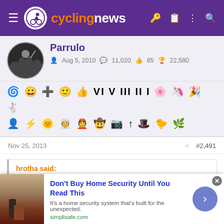cyclingnews
Parrulo
Aug 5, 2010  11,020  65  22,580
[Figure (other): User badges and achievement icons row]
Nov 25, 2013  #2,491
hrotha said:
Not that I was expecting a good book by any means, but the snippets I'm reading are just sad.
It truly is sad. I have been checking this thread daily and i always g
[Figure (screenshot): Advertisement: Don't Buy Home Security Until You Read This. simplisafe.com]